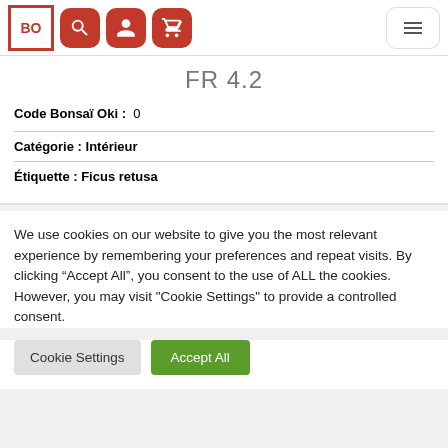BO | Search | Account | Cart | Menu
FR 4.2
Code Bonsaï Oki : 0
Catégorie : Intérieur
Étiquette : Ficus retusa
We use cookies on our website to give you the most relevant experience by remembering your preferences and repeat visits. By clicking "Accept All", you consent to the use of ALL the cookies. However, you may visit "Cookie Settings" to provide a controlled consent.
Cookie Settings | Accept All